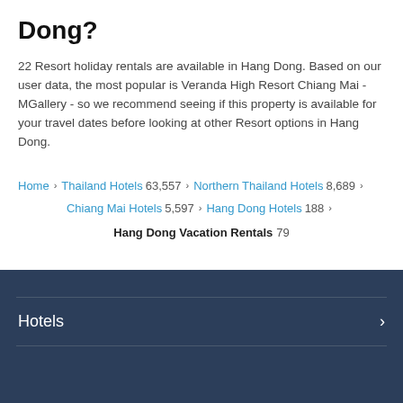Dong?
22 Resort holiday rentals are available in Hang Dong. Based on our user data, the most popular is Veranda High Resort Chiang Mai - MGallery - so we recommend seeing if this property is available for your travel dates before looking at other Resort options in Hang Dong.
Home > Thailand Hotels 63,557 > Northern Thailand Hotels 8,689 > Chiang Mai Hotels 5,597 > Hang Dong Hotels 188 > Hang Dong Vacation Rentals 79
Hotels >